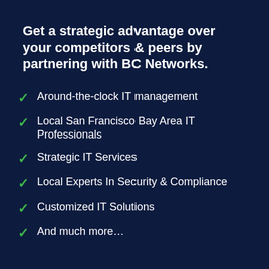Get a strategic advantage over your competitors & peers by partnering with BC Networks.
Around-the-clock IT management
Local San Francisco Bay Area IT Professionals
Strategic IT Services
Local Experts In Security & Compliance
Customized IT Solutions
And much more…